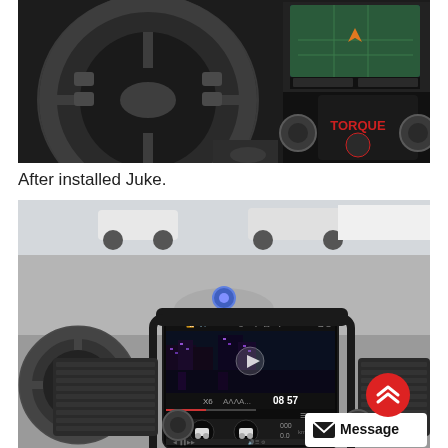[Figure (photo): Car interior photo showing a Nissan Juke dashboard with steering wheel on the left and an aftermarket infotainment screen displaying a TORQUE app interface on the right, before installation.]
After installed Juke.
[Figure (photo): Car interior photo of a Nissan Juke after installation of a large vertical Tesla-style Android touchscreen head unit in the center console, showing a video/music interface with time 08:57 and gauge displays. A red scroll-up button and a Message button are visible in the lower right.]